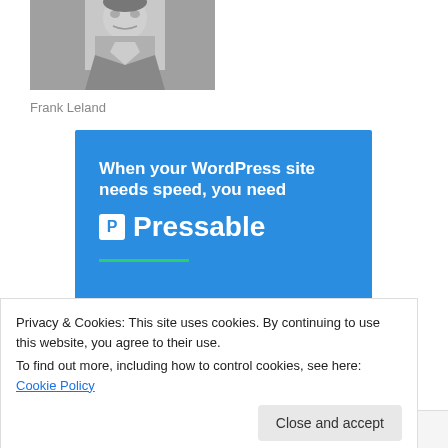[Figure (photo): Black and white photo of a person, partially cropped at the top of the page]
Frank Leland
[Figure (illustration): Pressable WordPress hosting advertisement with blue background, white bold text reading 'When your WordPress site needs speed, you need Pressable', green underline, and a person flying with a laptop]
Privacy & Cookies: This site uses cookies. By continuing to use this website, you agree to their use.
To find out more, including how to control cookies, see here: Cookie Policy